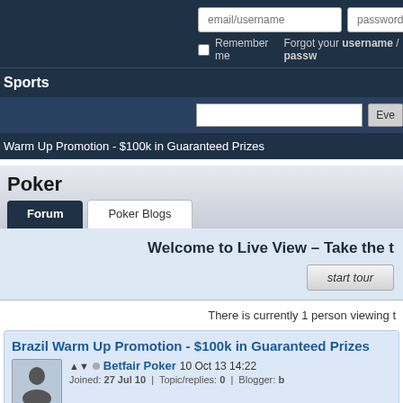email/username | password | Log In | Remember me | Forgot your username / password
Sports
Eve
Warm Up Promotion - $100k in Guaranteed Prizes
Poker
Forum | Poker Blogs
Welcome to Live View – Take the t
start tour
There is currently 1 person viewing t
Brazil Warm Up Promotion - $100k in Guaranteed Prizes
Betfair Poker 10 Oct 13 14:22
Joined: 27 Jul 10 | Topic/replies: 0 | Blogger: